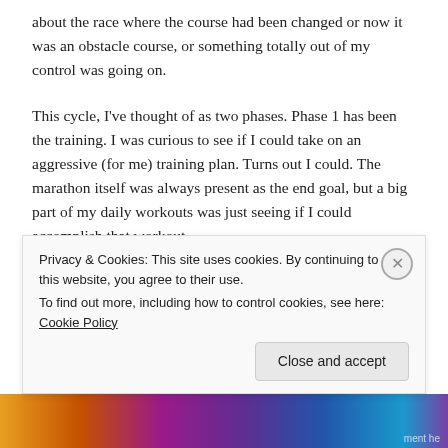about the race where the course had been changed or now it was an obstacle course, or something totally out of my control was going on.
This cycle, I've thought of as two phases. Phase 1 has been the training. I was curious to see if I could take on an aggressive (for me) training plan. Turns out I could. The marathon itself was always present as the end goal, but a big part of my daily workouts was just seeing if I could accomplish that workout.
The marathon itself is Phase 2. I'd really like to PR at
Privacy & Cookies: This site uses cookies. By continuing to use this website, you agree to their use.
To find out more, including how to control cookies, see here: Cookie Policy